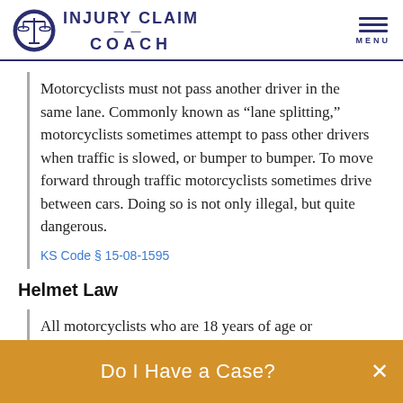INJURY CLAIM COACH
Motorcyclists must not pass another driver in the same lane. Commonly known as “lane splitting,” motorcyclists sometimes attempt to pass other drivers when traffic is slowed, or bumper to bumper. To move forward through traffic motorcyclists sometimes drive between cars. Doing so is not only illegal, but quite dangerous.
KS Code § 15-08-1595
Helmet Law
All motorcyclists who are 18 years of age or
Do I Have a Case?